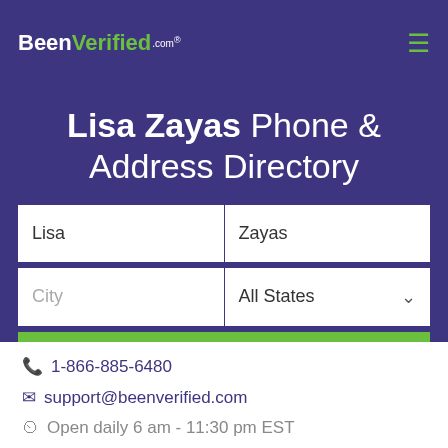BeenVerified.com
Lisa Zayas Phone & Address Directory
Lisa | Zayas | City | All States | SEARCH
1-866-885-6480
support@beenverified.com
Open daily 6 am - 11:30 pm EST